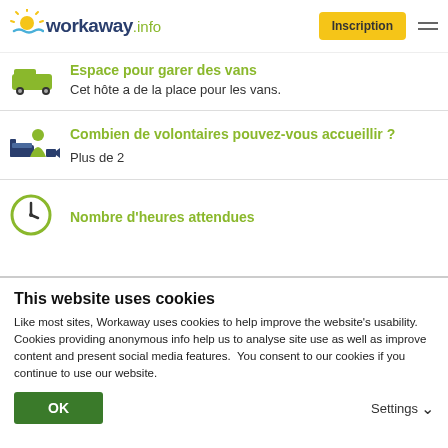workaway.info — Inscription
Espace pour garer des vans
Cet hôte a de la place pour les vans.
Combien de volontaires pouvez-vous accueillir ?
Plus de 2
Nombre d'heures attendues
This website uses cookies
Like most sites, Workaway uses cookies to help improve the website's usability. Cookies providing anonymous info help us to analyse site use as well as improve content and present social media features.  You consent to our cookies if you continue to use our website.
OK
Settings